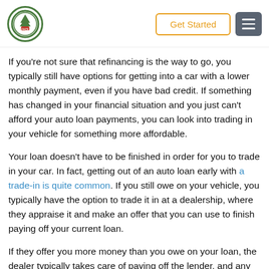[Logo] Get Started [Menu]
If you're not sure that refinancing is the way to go, you typically still have options for getting into a car with a lower monthly payment, even if you have bad credit. If something has changed in your financial situation and you just can't afford your auto loan payments, you can look into trading in your vehicle for something more affordable.
Your loan doesn't have to be finished in order for you to trade in your car. In fact, getting out of an auto loan early with a trade-in is quite common. If you still owe on your vehicle, you typically have the option to trade it in at a dealership, where they appraise it and make an offer that you can use to finish paying off your current loan.
If they offer you more money than you owe on your loan, the dealer typically takes care of paying off the lender, and any